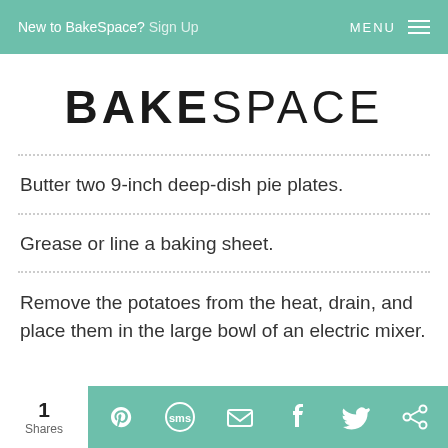New to BakeSpace? Sign Up   MENU
BAKESPACE
Butter two 9-inch deep-dish pie plates.
Grease or line a baking sheet.
Remove the potatoes from the heat, drain, and place them in the large bowl of an electric mixer.
1 Shares  [Pinterest] [SMS] [Email] [Facebook] [Twitter] [Other]